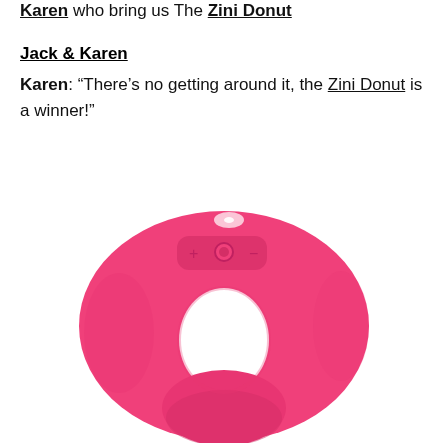Karen who bring us The Zini Donut
Jack & Karen
Karen: "There's no getting around it, the Zini Donut is a winner!"
[Figure (photo): Pink donut-shaped vibrator product photo (Zini Donut) on white background, showing a rounded horseshoe/donut shaped pink silicone device with control buttons on top.]